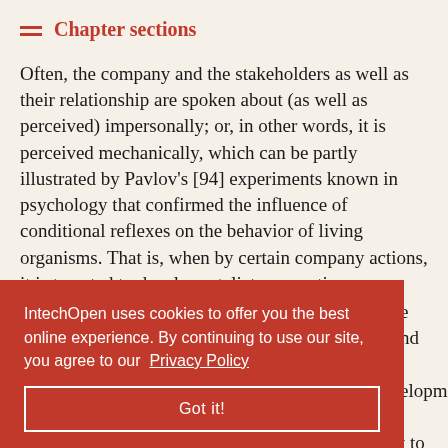Chapter sections
Often, the company and the stakeholders as well as their relationship are spoken about (as well as perceived) impersonally; or, in other words, it is perceived mechanically, which can be partly illustrated by Pavlov's [94] experiments known in psychology that confirmed the influence of conditional reflexes on the behavior of living organisms. That is, when by certain company actions, it is targeted to develop retaliatory reactions
and in closely development is nt to draw attention to
IntechOpen uses cookies to offer you the best online experience. By continuing to use our site, you agree to our Privacy Policy
Got it!